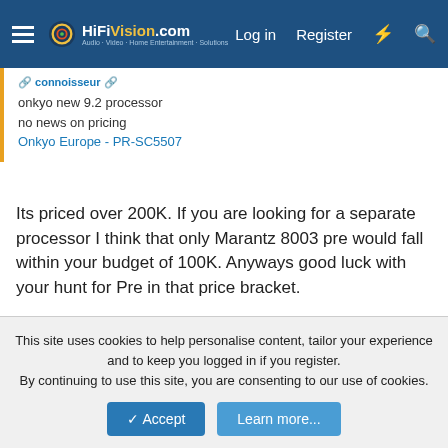HiFiVision.com — Log in | Register
onkyo new 9.2 processor
no news on pricing
Onkyo Europe - PR-SC5507
Its priced over 200K. If you are looking for a separate processor I think that only Marantz 8003 pre would fall within your budget of 100K. Anyways good luck with your hunt for Pre in that price bracket.
↩ Reply
subhash
Well-Known Member
This site uses cookies to help personalise content, tailor your experience and to keep you logged in if you register.
By continuing to use this site, you are consenting to our use of cookies.